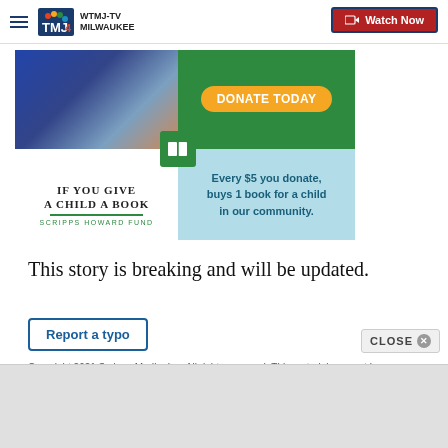WTMJ-TV MILWAUKEE — Watch Now
[Figure (infographic): Scripps Howard Fund donation ad: 'IF YOU GIVE A CHILD A BOOK' with DONATE TODAY button and text 'Every $5 you donate, buys 1 book for a child in our community.']
This story is breaking and will be updated.
Report a typo
Copyright 2021 Scripps Media, Inc. All rights reserved. This material may not be published, broadcast, rewritten, or redistributed.